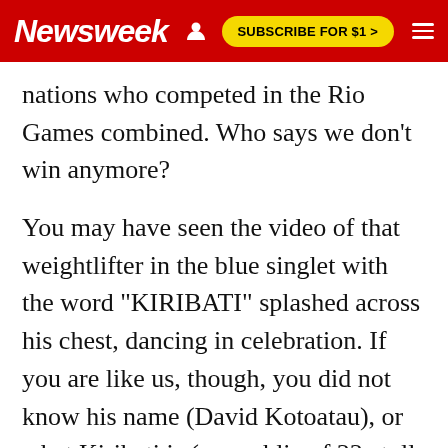Newsweek | SUBSCRIBE FOR $1 >
nations who competed in the Rio Games combined. Who says we don't win anymore?
You may have seen the video of that weightlifter in the blue singlet with the word "KIRIBATI" splashed across his chest, dancing in celebration. If you are like us, though, you did not know his name (David Kotoatau), or what Kiribati is (a republic of 33 atolls located just north of the equator in the central Pacific) or that, his euphoria notwithstanding, Kotoatau failed to lift the weight above his head (he